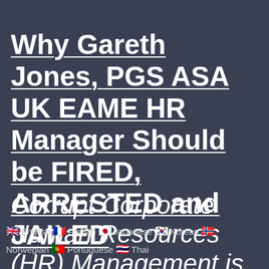Why Gareth Jones, PGS ASA UK EAME HR Manager Should be FIRED, ARRESTED and JAILED
Corrupt Corporate Human Resources (HR) Management is
English  French  Japanese  Korean  Norwegian  Portuguese  Thai